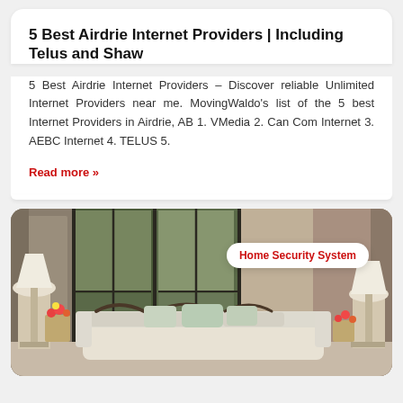5 Best Airdrie Internet Providers | Including Telus and Shaw
5 Best Airdrie Internet Providers – Discover reliable Unlimited Internet Providers near me. MovingWaldo's list of the 5 best Internet Providers in Airdrie, AB 1. VMedia 2. Can Com Internet 3. AEBC Internet 4. TELUS 5.
Read more »
[Figure (photo): Interior living room photo showing a light-colored sofa with decorative pillows, floor lamps, and large windows. A badge overlay reads 'Home Security System' in red text on white rounded rectangle background.]